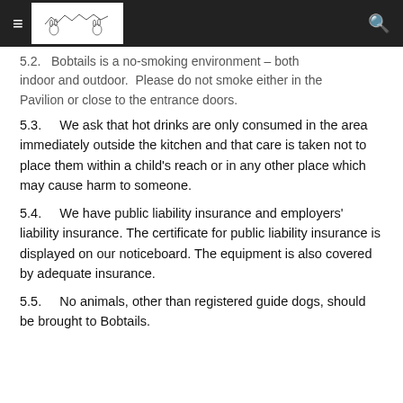Bobtails
5.2. Bobtails is a no-smoking environment – both indoor and outdoor.  Please do not smoke either in the Pavilion or close to the entrance doors.
5.3.    We ask that hot drinks are only consumed in the area immediately outside the kitchen and that care is taken not to place them within a child's reach or in any other place which may cause harm to someone.
5.4.    We have public liability insurance and employers' liability insurance. The certificate for public liability insurance is displayed on our noticeboard. The equipment is also covered by adequate insurance.
5.5.    No animals, other than registered guide dogs, should be brought to Bobtails.